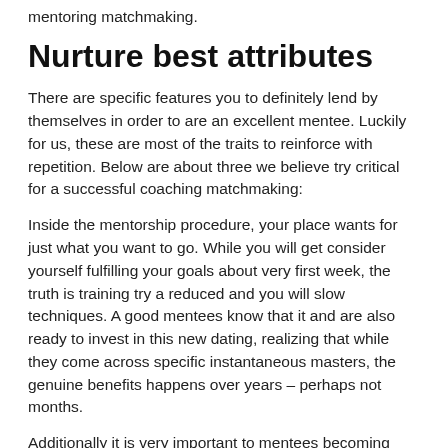mentoring matchmaking.
Nurture best attributes
There are specific features you to definitely lend by themselves in order to are an excellent mentee. Luckily for us, these are most of the traits to reinforce with repetition. Below are about three we believe try critical for a successful coaching matchmaking:
Inside the mentorship procedure, your place wants for just what you want to go. While you will get consider yourself fulfilling your goals about very first week, the truth is training try a reduced and you will slow techniques. A good mentees know that it and are also ready to invest in this new dating, realizing that while they come across specific instantaneous masters, the genuine benefits happens over years – perhaps not months.
Additionally it is very important to mentees becoming